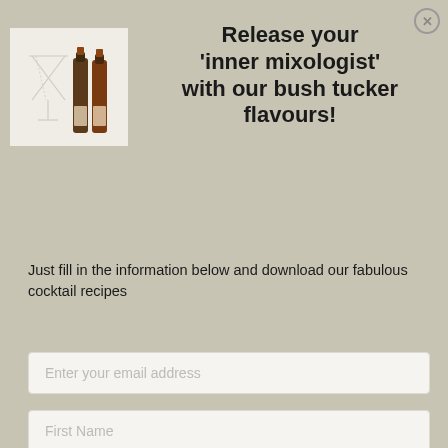[Figure (photo): Two small dark bottles of bush tucker flavoured syrups next to a martini glass with a stirrer, shown on a white background]
Release your 'inner mixologist' with our bush tucker flavours!
Just fill in the information below and download our fabulous cocktail recipes
Enter your email address
First Name